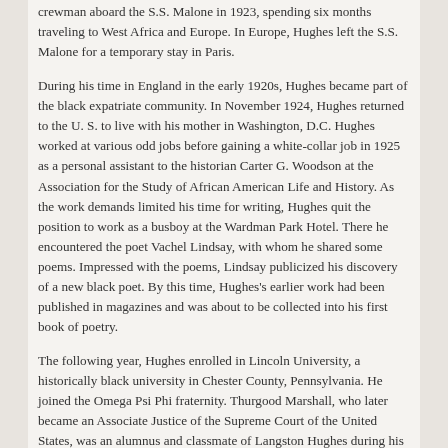crewman aboard the S.S. Malone in 1923, spending six months traveling to West Africa and Europe. In Europe, Hughes left the S.S. Malone for a temporary stay in Paris.
During his time in England in the early 1920s, Hughes became part of the black expatriate community. In November 1924, Hughes returned to the U. S. to live with his mother in Washington, D.C. Hughes worked at various odd jobs before gaining a white-collar job in 1925 as a personal assistant to the historian Carter G. Woodson at the Association for the Study of African American Life and History. As the work demands limited his time for writing, Hughes quit the position to work as a busboy at the Wardman Park Hotel. There he encountered the poet Vachel Lindsay, with whom he shared some poems. Impressed with the poems, Lindsay publicized his discovery of a new black poet. By this time, Hughes's earlier work had been published in magazines and was about to be collected into his first book of poetry.
The following year, Hughes enrolled in Lincoln University, a historically black university in Chester County, Pennsylvania. He joined the Omega Psi Phi fraternity. Thurgood Marshall, who later became an Associate Justice of the Supreme Court of the United States, was an alumnus and classmate of Langston Hughes during his undergraduate studies at Lincoln University.
After Hughes earned a B.A. degree from Lincoln University in 1929, he returned to New York. Except for travels to the Soviet Union and parts of the Caribbean, Hughes lived in Harlem as his primary home for the remainder of his life. During the 1930s, Hughes became a resident of Westfield, New Jersey.